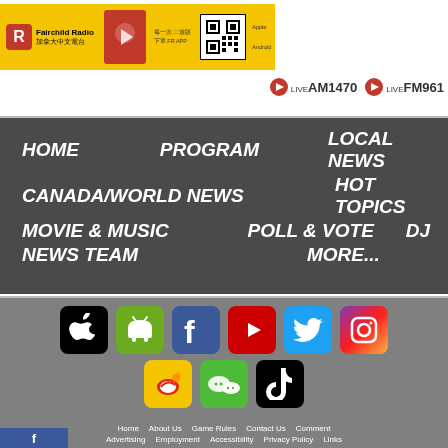[Figure (logo): Fairchild Radio banner with logo, QR code, Apple/Android app download text on yellow background]
[Figure (infographic): Live radio buttons: LIVE AM1470 and LIVE FM961]
HOME   PROGRAM   LOCAL NEWS   CANADA/WORLD NEWS   HOT TOPICS   MOVIE & MUSIC   POLL & VOTE   DJ   NEWS TEAM   MORE...
[Figure (infographic): Social media icons: Apple, Android, Facebook, YouTube, Twitter, Instagram, Weibo, WeChat, TikTok]
Home   About Us   Game Rules   Contact Us   Comment   Advertising   Employment   Accessibility   Privacy Policy   Links   International Programs